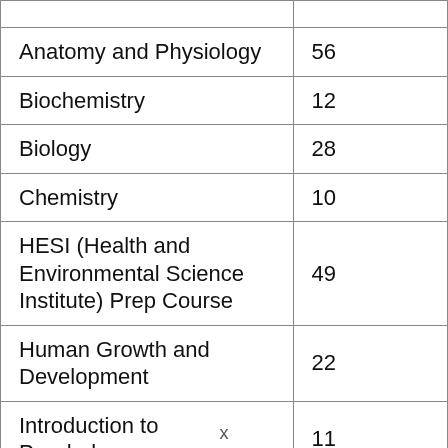|  |  |
| Anatomy and Physiology | 56 |
| Biochemistry | 12 |
| Biology | 28 |
| Chemistry | 10 |
| HESI (Health and Environmental Science Institute) Prep Course | 49 |
| Human Growth and Development | 22 |
| Introduction to Psychology | 11 |
|  |  |